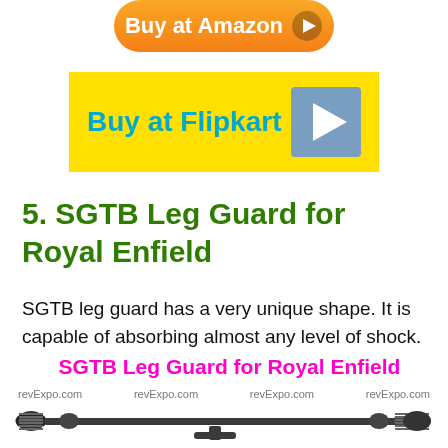[Figure (illustration): Buy at Amazon button with orange gradient rounded rectangle and white play icon]
[Figure (illustration): Buy at Flipkart button with yellow background, cyan text, and grey play icon]
5. SGTB Leg Guard for Royal Enfield
SGTB leg guard has a very unique shape. It is capable of absorbing almost any level of shock.
SGTB Leg Guard for Royal Enfield
[Figure (photo): Product image of SGTB Leg Guard for Royal Enfield with revExpo.com watermarks, showing a metal bar with springs on both ends]